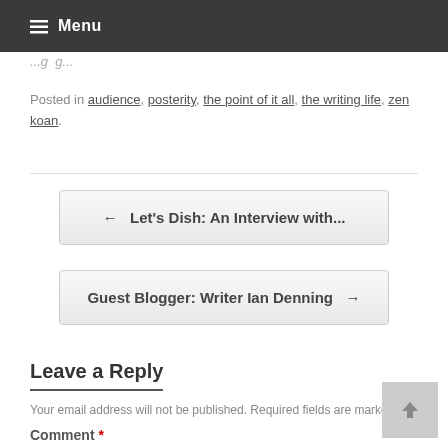Menu
Posted in audience, posterity, the point of it all, the writing life, zen koan.
← Let's Dish: An Interview with...
Guest Blogger: Writer Ian Denning →
Leave a Reply
Your email address will not be published. Required fields are marked *
Comment *